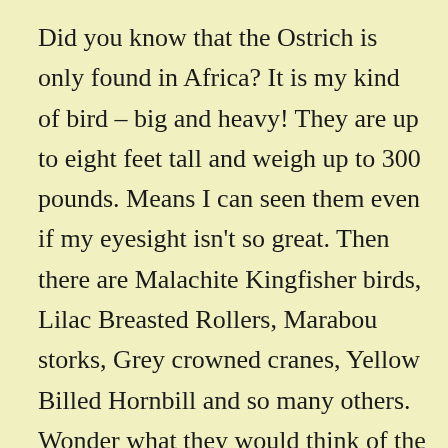Did you know that the Ostrich is only found in Africa? It is my kind of bird – big and heavy! They are up to eight feet tall and weigh up to 300 pounds. Means I can seen them even if my eyesight isn't so great. Then there are Malachite Kingfisher birds, Lilac Breasted Rollers, Marabou storks, Grey crowned cranes, Yellow Billed Hornbill and so many others. Wonder what they would think of the birds here in Washington? Do you think any of our